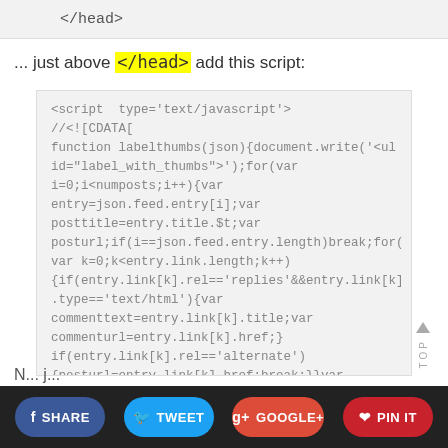</head>
... just above </head> add this script:
<script type='text/javascript'>
//<![CDATA[
function labelthumbs(json){document.write('<ul
id="label_with_thumbs">');for(var
i=0;i<numposts;i++){var
entry=json.feed.entry[i];var
posttitle=entry.title.$t;var
posturl;if(i==json.feed.entry.length)break;for(
var k=0;k<entry.link.length;k++)
{if(entry.link[k].rel=='replies'&&entry.link[k]
.type=='text/html'){var
commenttext=entry.link[k].title;var
commenturl=entry.link[k].href;}
if(entry.link[k].rel=='alternate')
{posturl=entry.link[k].href;break;}}var
SHARE  TWEET  GOOGLE+  PIN IT